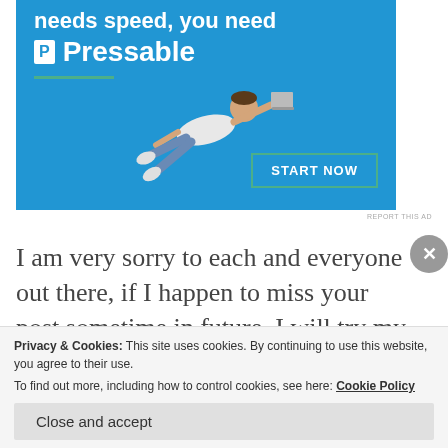[Figure (illustration): Blue advertisement banner for Pressable web hosting. Top text reads 'needs speed, you need' with a Pressable logo (white P in box) and 'Pressable' in large white text. A green underline decorative line appears below. A person flying horizontally holding a laptop is shown in the center-bottom of the banner. A 'START NOW' button with teal border appears bottom-right.]
REPORT THIS AD
I am very sorry to each and everyone out there, if I happen to miss your post sometime in future. I will try my very best to read them and present my
Privacy & Cookies: This site uses cookies. By continuing to use this website, you agree to their use.
To find out more, including how to control cookies, see here: Cookie Policy
Close and accept